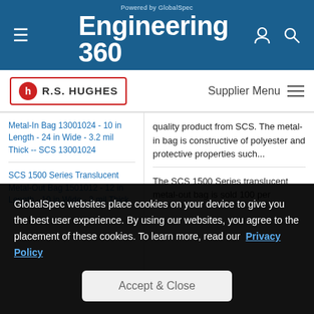Powered by GlobalSpec Engineering 360
[Figure (logo): R.S. Hughes supplier logo with red border]
Supplier Menu
Metal-In Bag 13001024 - 10 in Length - 24 in Wide - 3.2 mil Thick -- SCS 13001024
quality product from SCS. The metal-in bag is constructive of polyester and protective properties such...
SCS 1500 Series Translucent Metal-Out Bag 1501012 - 12 in Length - 10 in Wide - 3 mil Thick
The SCS 1500 Series translucent metal-out bag is sold 100 per
GlobalSpec websites place cookies on your device to give you the best user experience. By using our websites, you agree to the placement of these cookies. To learn more, read our Privacy Policy
Accept & Close